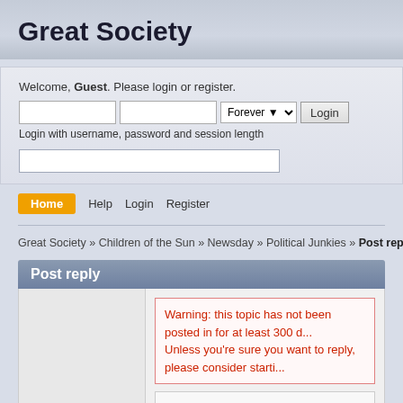Great Society
Welcome, Guest. Please login or register.
Login with username, password and session length
Great Society » Children of the Sun » Newsday » Political Junkies » Post reply ( Re: N...
Post reply
Warning: this topic has not been posted in for at least 300 d... Unless you're sure you want to reply, please consider starti...